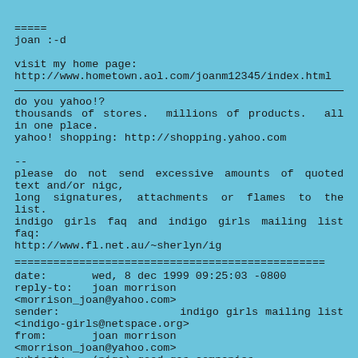=====
joan :-d

visit my home page:
http://www.hometown.aol.com/joanm12345/index.html
do you yahoo!?
thousands of stores.  millions of products.  all in one place.
yahoo! shopping: http://shopping.yahoo.com

--
please do not send excessive amounts of quoted text and/or nigc,
long signatures, attachments or flames to the list.
indigo girls faq and indigo girls mailing list faq:
http://www.fl.net.au/~sherlyn/ig
date:       wed, 8 dec 1999 09:25:03 -0800
reply-to:   joan morrison <morrison_joan@yahoo.com>
sender:                 indigo girls mailing list <indigo-girls@netspace.org>
from:       joan morrison <morrison_joan@yahoo.com>
subject:    (nigc) good gas companies